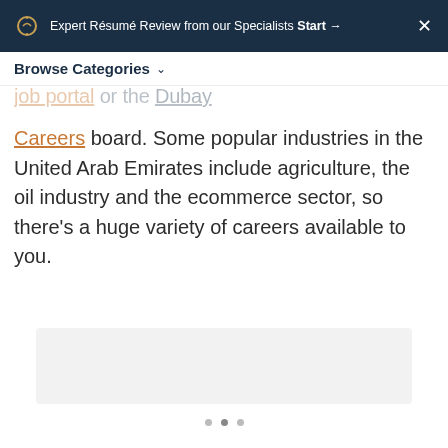Expert Résumé Review from our Specialists Start → ✕
Browse Categories ∨
Careers board. Some popular industries in the United Arab Emirates include agriculture, the oil industry and the ecommerce sector, so there's a huge variety of careers available to you.
[Figure (photo): Placeholder/loading image area with light gray background and pagination dots below]